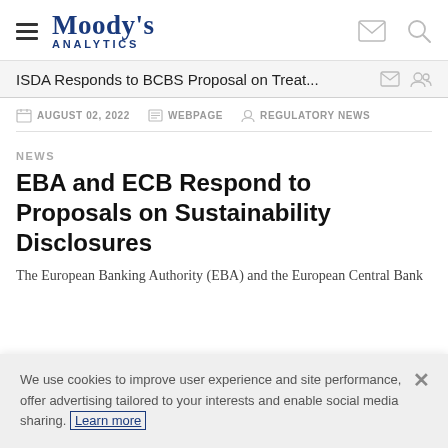Moody's Analytics
ISDA Responds to BCBS Proposal on Treat...
AUGUST 02, 2022 | WEBPAGE | REGULATORY NEWS
NEWS
EBA and ECB Respond to Proposals on Sustainability Disclosures
The European Banking Authority (EBA) and the European Central Bank
We use cookies to improve user experience and site performance, offer advertising tailored to your interests and enable social media sharing. Learn more